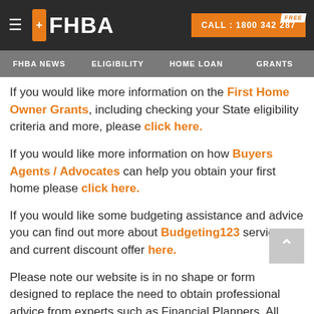FHBA — CALL : 1800 342 287
FHBA NEWS   ELIGIBILITY   HOME LOAN   GRANTS
If you would like more information on the First Home Owner Grants, including checking your State eligibility criteria and more, please click here.
If you would like more information on how Buyers Agents / Advocates can help you obtain your first home please click here.
If you would like some budgeting assistance and advice you can find out more about Budgeting123 services and current discount offer here.
Please note our website is in no shape or form designed to replace the need to obtain professional advice from experts such as Financial Planners. All